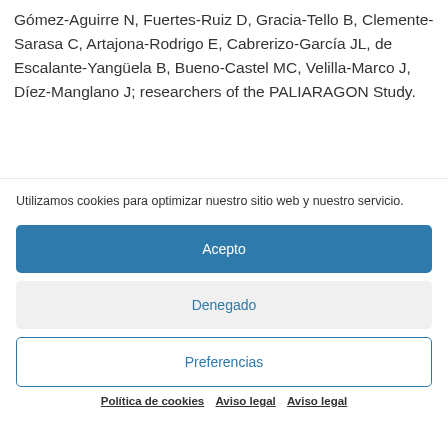Gómez-Aguirre N, Fuertes-Ruiz D, Gracia-Tello B, Clemente-Sarasa C, Artajona-Rodrigo E, Cabrerizo-García JL, de Escalante-Yangüela B, Bueno-Castel MC, Velilla-Marco J, Díez-Manglano J; researchers of the PALIARAGON Study.
Utilizamos cookies para optimizar nuestro sitio web y nuestro servicio.
Acepto
Denegado
Preferencias
Política de cookies   Aviso legal   Aviso legal